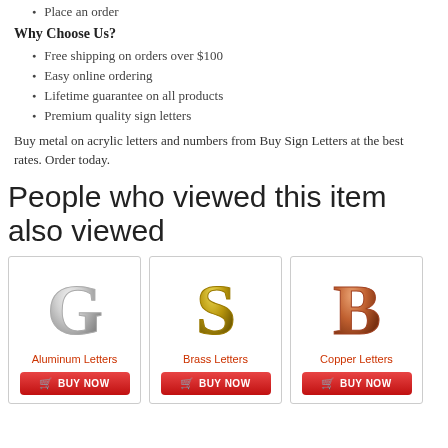Place an order
Why Choose Us?
Free shipping on orders over $100
Easy online ordering
Lifetime guarantee on all products
Premium quality sign letters
Buy metal on acrylic letters and numbers from Buy Sign Letters at the best rates. Order today.
People who viewed this item also viewed
[Figure (photo): Silver aluminum letter G product image]
Aluminum Letters
[Figure (photo): Gold brass letter S product image]
Brass Letters
[Figure (photo): Copper letter B product image]
Copper Letters